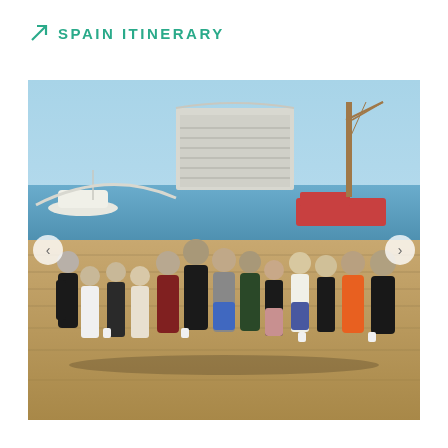SPAIN ITINERARY
[Figure (photo): Group of teenagers posing together on a waterfront boardwalk/pier, with a large modern building and water visible in the background, likely in Barcelona, Spain. The group consists of approximately 13 young people smiling at the camera.]